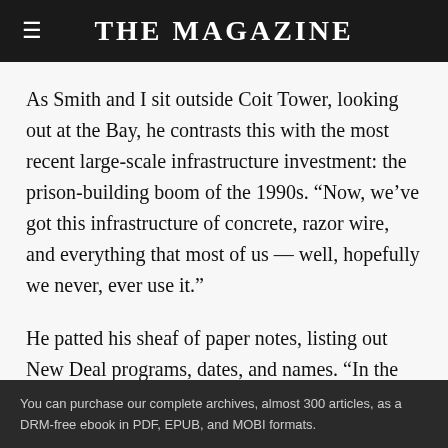THE MAGAZINE
As Smith and I sit outside Coit Tower, looking out at the Bay, he contrasts this with the most recent large-scale infrastructure investment: the prison-building boom of the 1990s. “Now, we’ve got this infrastructure of concrete, razor wire, and everything that most of us — well, hopefully we never, ever use it.”
He patted his sheaf of paper notes, listing out New Deal programs, dates, and names. “In the ’30s, they
You can purchase our complete archives, almost 300 articles, as a DRM-free ebook in PDF, EPUB, and MOBI formats.